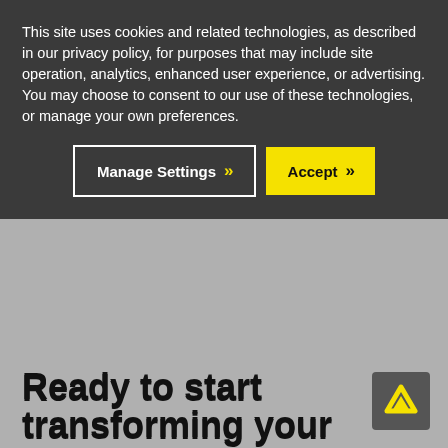This site uses cookies and related technologies, as described in our privacy policy, for purposes that may include site operation, analytics, enhanced user experience, or advertising. You may choose to consent to our use of these technologies, or manage your own preferences.
[Figure (screenshot): Cookie consent overlay with two buttons: 'Manage Settings' (dark background, white border, yellow chevron) and 'Accept' (yellow background, dark chevron)]
Ready to start transforming your delivery business?
We've got the specialized TMS solutions you need to conquer your industry challenges.
[Figure (screenshot): Get started button with yellow text and chevron arrows on black background, and a small logo icon in bottom right corner]